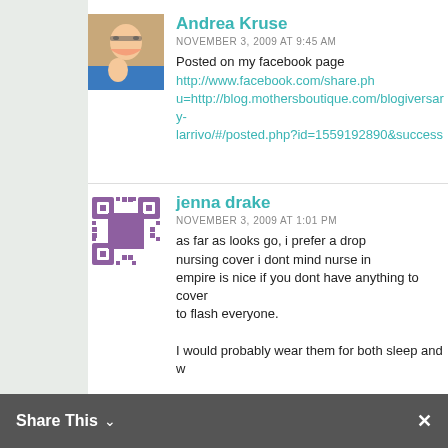[Figure (photo): Profile photo of Andrea Kruse - woman with glasses holding a small child, both smiling]
Andrea Kruse
NOVEMBER 3, 2009 AT 9:45 AM
Posted on my facebook page http://www.facebook.com/share.php?u=http://blog.mothersboutique.com/blogiversary-larrivo/#/posted.php?id=1559192890&success
[Figure (other): QR code style avatar/placeholder for jenna drake]
jenna drake
NOVEMBER 3, 2009 AT 1:01 PM
as far as looks go, i prefer a drop nursing cover i dont mind nurse in empire is nice if you dont have anything to cover to flash everyone.

I would probably wear them for both sleep and w
[Figure (photo): Partial profile photo of Kristie]
Kristie
NOVEMBER 3, 2009 AT 3:18 PM